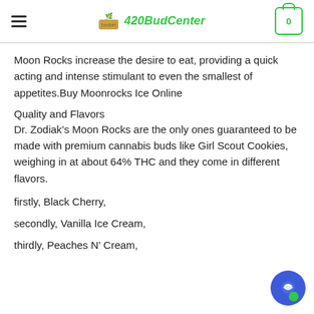420BudCenter
Moon Rocks increase the desire to eat, providing a quick acting and intense stimulant to even the smallest of appetites.Buy Moonrocks Ice Online
Quality and Flavors
Dr. Zodiak’s Moon Rocks are the only ones guaranteed to be made with premium cannabis buds like Girl Scout Cookies, weighing in at about 64% THC and they come in different flavors.
firstly, Black Cherry,
secondly, Vanilla Ice Cream,
thirdly, Peaches N’ Cream,